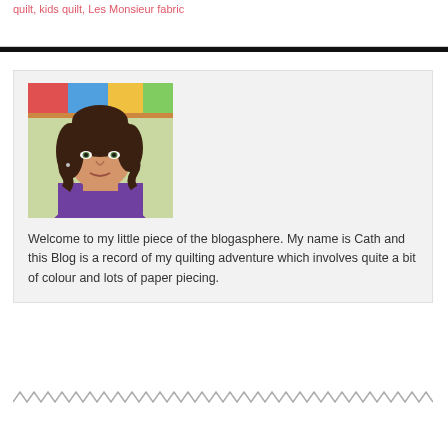quilt, kids quilt, Les Monsieur fabric
[Figure (photo): Portrait photo of a woman with dark wavy hair wearing a purple top, with a colorful quilt visible in the background]
Welcome to my little piece of the blogasphere. My name is Cath and this Blog is a record of my quilting adventure which involves quite a bit of colour and lots of paper piecing.